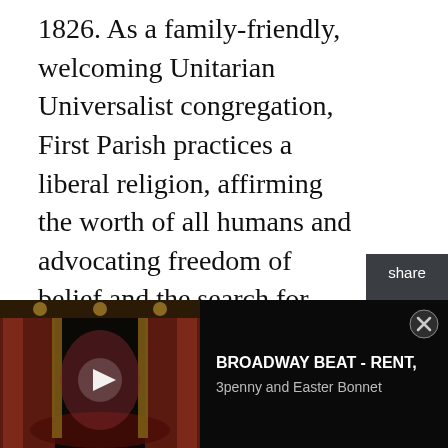1826. As a family-friendly, welcoming Unitarian Universalist congregation, First Parish practices a liberal religion, affirming the worth of all humans and advocating freedom of belief and the search for advancing truth. Recent inclusion initiatives at First Parish include the installation of a "Black Lives Matter" sign over the entrance, a plaque and regular mentions in worship services noting early church leaders' complicity in genocide of Wabanaki people, and the installation of an elevator aimed at making the historic building more accessible to people with disabilities.
[Figure (screenshot): Ad banner showing a dark theater stage with red curtains, a play button icon, and text 'BROADWAY BEAT - RENT, 3penny and Easter Bonnet' with a close button.]